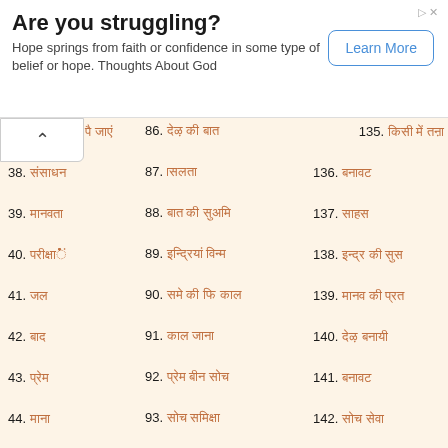[Figure (other): Advertisement banner: 'Are you struggling?' with text 'Hope springs from faith or confidence in some type of belief or hope. Thoughts About God' and a 'Learn More' button]
37. [Hindi text]
38. [Hindi text]
39. [Hindi text]
40. [Hindi text]
41. [Hindi text]
42. [Hindi text]
43. [Hindi text]
44. [Hindi text]
86. [Hindi text]
87. [Hindi text]
88. [Hindi text]
89. [Hindi text]
90. [Hindi text]
91. [Hindi text]
92. [Hindi text]
93. [Hindi text]
135. [Hindi text]
136. [Hindi text]
137. [Hindi text]
138. [Hindi text]
139. [Hindi text]
140. [Hindi text]
141. [Hindi text]
142. [Hindi text]